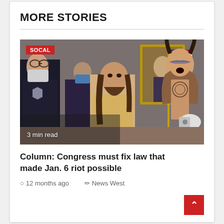MORE STORIES
[Figure (photo): Photo of people inside the US Capitol building during the January 6 riot, including a shirtless man wearing a fur hat with horns and face paint, a bearded man in a tan hoodie, and police officers wearing masks.]
SOCAL
3 min read
Column: Congress must fix law that made Jan. 6 riot possible
12 months ago   News West